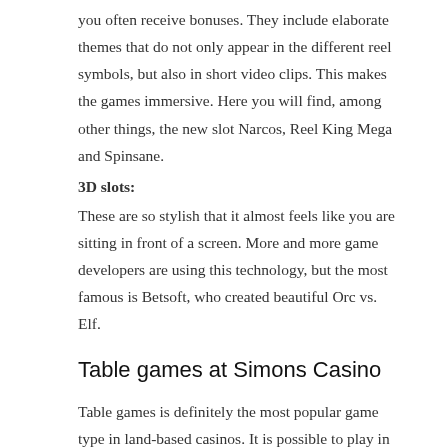you often receive bonuses. They include elaborate themes that do not only appear in the different reel symbols, but also in short video clips. This makes the games immersive. Here you will find, among other things, the new slot Narcos, Reel King Mega and Spinsane.
3D slots:
These are so stylish that it almost feels like you are sitting in front of a screen. More and more game developers are using this technology, but the most famous is Betsoft, who created beautiful Orc vs. Elf.
Table games at Simons Casino
Table games is definitely the most popular game type in land-based casinos. It is possible to play in so many ways that it is difficult not to be able to see the charm of it. Table games include numerous different variations of games. You can select to play a variant that suits you best.